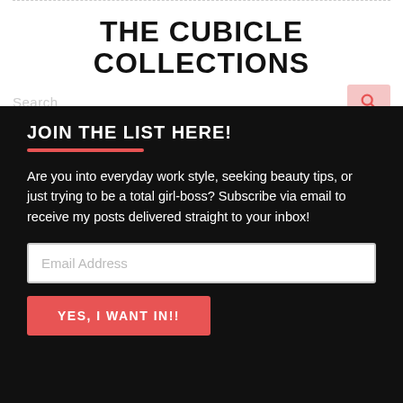THE CUBICLE COLLECTIONS
[Figure (screenshot): Search bar placeholder text and hamburger menu icon with red lines, plus pink search icon box in top right]
JOIN THE LIST HERE!
Are you into everyday work style, seeking beauty tips, or just trying to be a total girl-boss? Subscribe via email to receive my posts delivered straight to your inbox!
Email Address
YES, I WANT IN!!